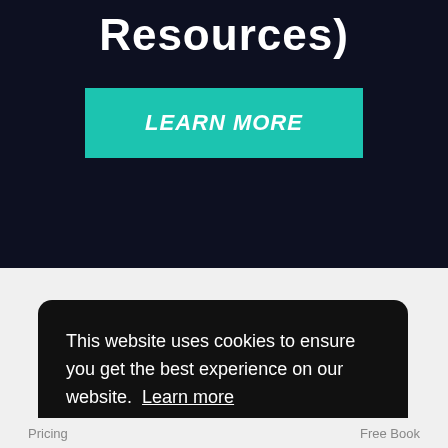Resources)
LEARN MORE
This website uses cookies to ensure you get the best experience on our website. Learn more
Got it!
Pricing   Free Book